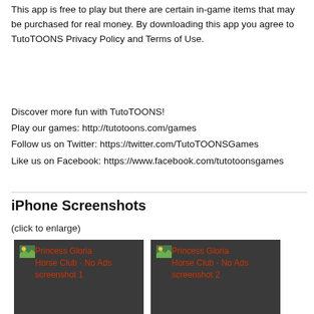This app is free to play but there are certain in-game items that may be purchased for real money. By downloading this app you agree to TutoTOONS Privacy Policy and Terms of Use.
Discover more fun with TutoTOONS!
Play our games: http://tutotoons.com/games
Follow us on Twitter: https://twitter.com/TutoTOONSGames
Like us on Facebook: https://www.facebook.com/tutotoonsgames
iPhone Screenshots
(click to enlarge)
[Figure (screenshot): Princess Gloria Horse Club - No Ads screenshot 1]
[Figure (screenshot): Princess Gloria Horse Club - No Ads screenshot 2]
[Figure (screenshot): Princess Gloria Horse Club - No Ads screenshot 3]
[Figure (screenshot): Princess Gloria Horse Club - No Ads screenshot 4]